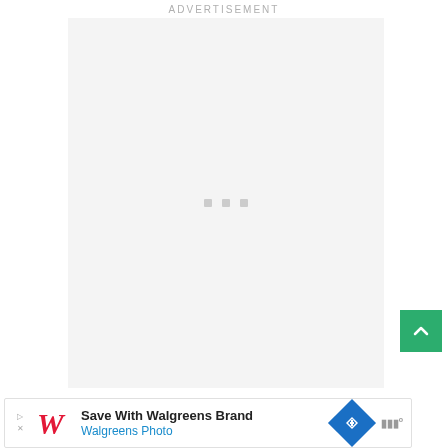ADVERTISEMENT
[Figure (other): Gray loading placeholder box with three small square dots in the center, indicating an advertisement is loading.]
[Figure (other): Green scroll-to-top button with upward chevron arrow, positioned to the right of the ad box.]
[Figure (other): Walgreens advertisement banner at the bottom: 'Save With Walgreens Brand / Walgreens Photo' with Walgreens W logo, a blue navigation arrow icon, and Moat analytics logo.]